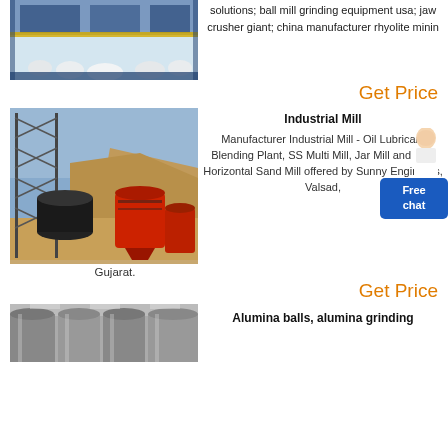[Figure (photo): Industrial ball mill grinding equipment inside a factory, showing white balls and blue/yellow machinery]
solutions; ball mill grinding equipment usa; jaw crusher giant; china manufacturer rhyolite minin
Get Price
[Figure (photo): Outdoor industrial mill equipment with black cylindrical tanks and large red conical industrial mills against a rocky hillside]
Industrial Mill
Manufacturer Industrial Mill - Oil Lubricant Blending Plant, SS Multi Mill, Jar Mill and Flux Horizontal Sand Mill offered by Sunny Engineers, Valsad,
Gujarat.
Get Price
[Figure (photo): Interior of an industrial facility showing large cylindrical metal tanks or silos]
Alumina balls, alumina grinding